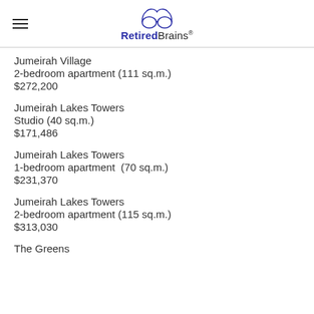RetiredBrains®
Jumeirah Village
2-bedroom apartment (111 sq.m.)
$272,200
Jumeirah Lakes Towers
Studio (40 sq.m.)
$171,486
Jumeirah Lakes Towers
1-bedroom apartment  (70 sq.m.)
$231,370
Jumeirah Lakes Towers
2-bedroom apartment (115 sq.m.)
$313,030
The Greens